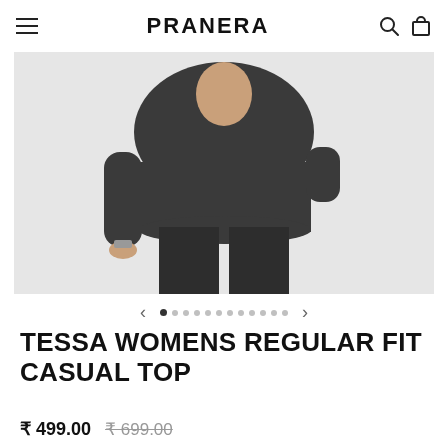PRANERA
[Figure (photo): Woman wearing a dark charcoal/grey regular fit casual top with dark jeans, showing torso and partial arms. Light grey background.]
TESSA WOMENS REGULAR FIT CASUAL TOP
₹ 499.00  ₹ 699.00